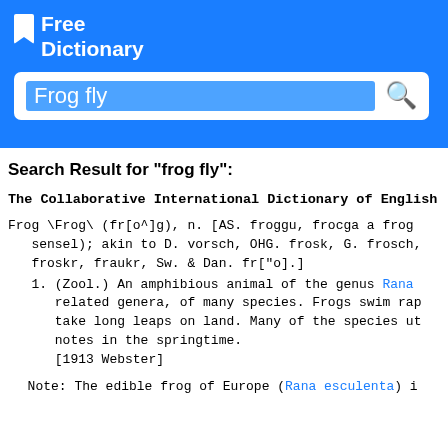FreeDictionary
Frog fly [search query]
Search Result for "frog fly":
The Collaborative International Dictionary of English
Frog \Frog\ (fr[o^]g), n. [AS. froggu, frocga a frog sensel); akin to D. vorsch, OHG. frosk, G. frosch, froskr, fraukr, Sw. & Dan. fr["o].]
1. (Zool.) An amphibious animal of the genus Rana related genera, of many species. Frogs swim rap take long leaps on land. Many of the species ut notes in the springtime.
[1913 Webster]
Note: The edible frog of Europe (Rana esculenta) i